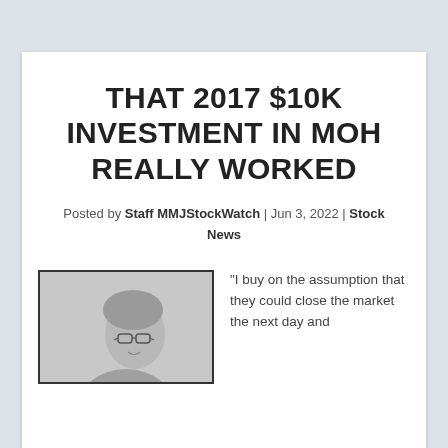THAT 2017 $10K INVESTMENT IN MOH REALLY WORKED
Posted by Staff MMJStockWatch | Jun 3, 2022 | Stock News
[Figure (photo): Black and white portrait photo of an older person with glasses and gray hair, facing slightly to the right, inside a black-bordered frame.]
“I buy on the assumption that they could close the market the next day and